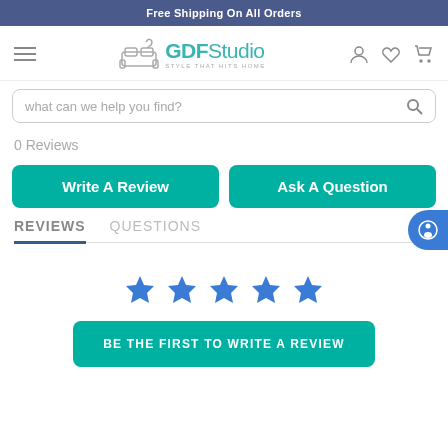Free Shipping On All Orders
[Figure (logo): GDF Studio logo with sofa icon and tagline 'STYLE THAT HITS HOME']
what can we help you find?
0 Reviews
Write A Review
Ask A Question
REVIEWS
QUESTIONS
[Figure (illustration): Five blue star rating icons]
BE THE FIRST TO WRITE A REVIEW